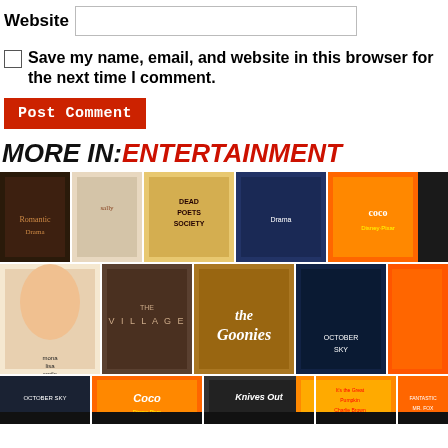Website [input field]
Save my name, email, and website in this browser for the next time I comment.
Post Comment
MORE IN: ENTERTAINMENT
[Figure (photo): Collage of movie posters including Mona Lisa Smile, The Village, The Goonies, October Sky, Coco, Fantastic Mr. Fox, Knives Out, Legends of the Fall, Dead Poets Society, and others arranged in a grid.]